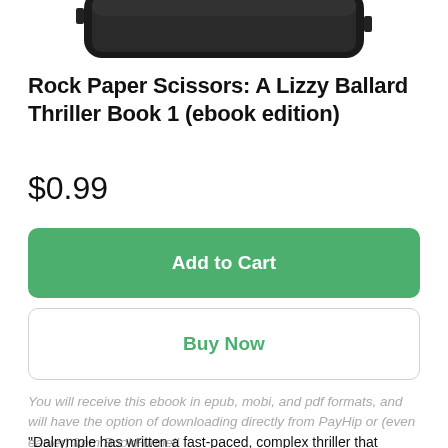[Figure (photo): Partial view of a tablet/e-reader device, cropped at top, showing the top edge and screen of the device against a white background.]
Rock Paper Scissors: A Lizzy Ballard Thriller Book 1 (ebook edition)
$0.99
Add to Cart
Buy Now
You will receive this ebook in epub, mobi, and pdf formats, and will have the option of downloading directly from PayHip or (even easier) from BookFunnel!
“Dalrymple has written a fast-paced, complex thriller that